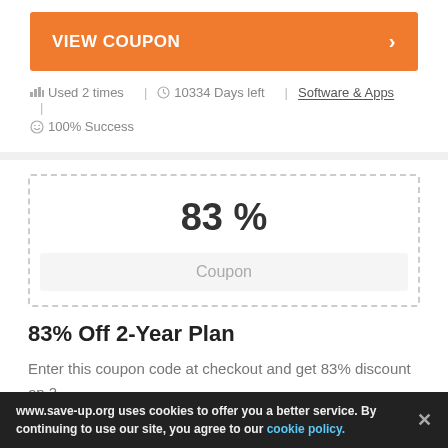VIEW COUPON >
Used 2 times | 10334 Days left | Software & Apps | 100% Success
83 %
Coupon
83% Off 2-Year Plan
Enter this coupon code at checkout and get 83% discount on 2...
www.save-up.org uses cookies to offer you a better service. By continuing to use our site, you agree to our cookie policy.